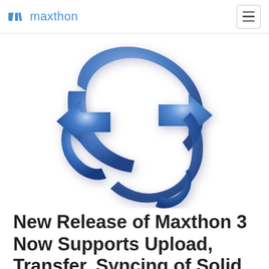maxthon
[Figure (logo): Maxthon browser logo — two interlocking blue 3D arrows forming a circular sync/refresh symbol, pointing in opposite directions (one right, one left), rendered with a glossy blue gradient on white background.]
New Release of Maxthon 3 Now Supports Upload, Transfer, Syncing of Solid